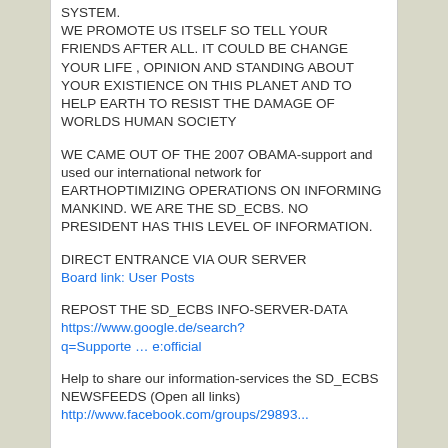SYSTEM.
WE PROMOTE US ITSELF SO TELL YOUR FRIENDS AFTER ALL. IT COULD BE CHANGE YOUR LIFE , OPINION AND STANDING ABOUT YOUR EXISTIENCE ON THIS PLANET AND TO HELP EARTH TO RESIST THE DAMAGE OF WORLDS HUMAN SOCIETY
WE CAME OUT OF THE 2007 OBAMA-support and used our international network for EARTHOPTIMIZING OPERATIONS ON INFORMING MANKIND. WE ARE THE SD_ECBS. NO PRESIDENT HAS THIS LEVEL OF INFORMATION.
DIRECT ENTRANCE VIA OUR SERVER
Board link: User Posts
REPOST THE SD_ECBS INFO-SERVER-DATA
https://www.google.de/search?q=Supporte … e:official
Help to share our information-services the SD_ECBS NEWSFEEDS (Open all links)
http://www.facebook.com/groups/29893...